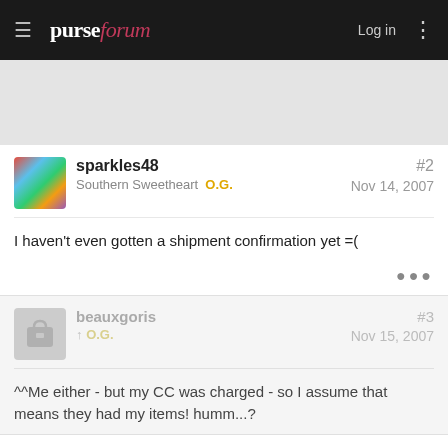purseforum — Log in
sparkles48 — Southern Sweetheart O.G. — #2 — Nov 14, 2007
I haven't even gotten a shipment confirmation yet =(
beauxgoris — O.G. — #3 — Nov 15, 2007
^^Me either - but my CC was charged - so I assume that means they had my items! humm...?